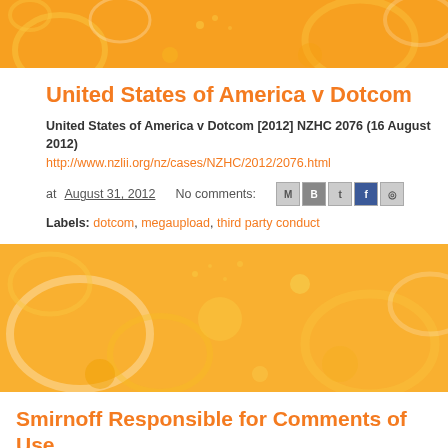United States of America v Dotcom
United States of America v Dotcom [2012] NZHC 2076 (16 August 2012)
http://www.nzlii.org/nz/cases/NZHC/2012/2076.html
at August 31, 2012   No comments:
Labels: dotcom, megaupload, third party conduct
Smirnoff Responsible for Comments of Use
“The Board considered that the Facebook site of an advertise communication tool over which the advertiser has a reasonab could be considered to draw the attention of a segment of the manner calculated to promote or oppose directly or indirectly determined that the provisions of the Code apply to an advert As a Facebook page can be used to engage with customers